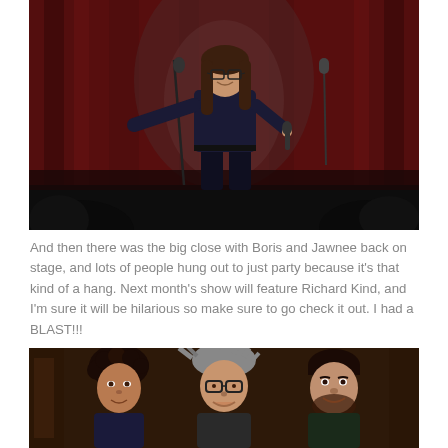[Figure (photo): Woman with glasses and long dark hair performing stand-up comedy on a stage with red curtains, holding a microphone, wearing a dark blue top and black pants.]
And then there was the big close with Boris and Jawnee back on stage, and lots of people hung out to just party because it's that kind of a hang. Next month's show will feature Richard Kind, and I'm sure it will be hilarious so make sure to go check it out. I had a BLAST!!!
[Figure (photo): Three men standing together smiling at the camera indoors. The man on the left has curly dark hair, the man in the middle has wild gray hair and glasses, and the man on the right has short dark hair and a beard.]